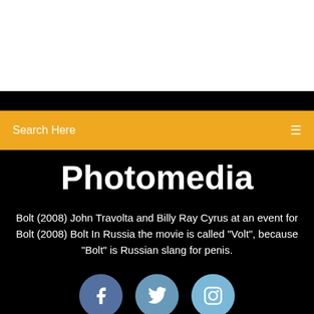Search Here
Photomedia
Bolt (2008) John Travolta and Billy Ray Cyrus at an event for Bolt (2008) Bolt In Russia the movie is called "Volt", because "Bolt" is Russian slang for penis.
[Figure (infographic): Three social media icon circles: Facebook (dark blue-grey), Twitter (medium blue-grey), Instagram (light blue-grey)]